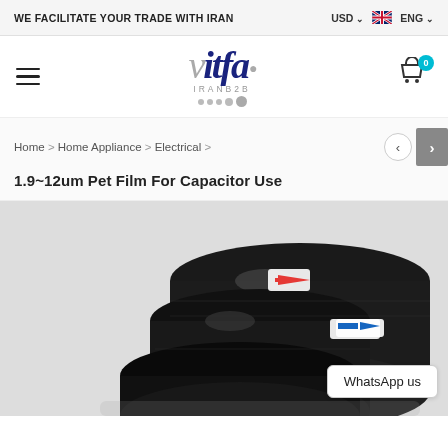WE FACILITATE YOUR TRADE WITH IRAN | USD | ENG
[Figure (logo): vitfa IRANB2B logo with decorative dots]
Home > Home Appliance > Electrical >
1.9~12um Pet Film For Capacitor Use
[Figure (photo): Black PET film rolls for capacitor use, stacked cylindrical rolls with red and blue label stickers]
WhatsApp us